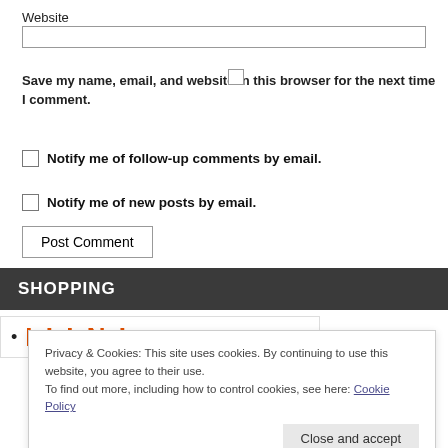Website
Save my name, email, and website in this browser for the next time I comment.
Notify me of follow-up comments by email.
Notify me of new posts by email.
Post Comment
SHOPPING
Privacy & Cookies: This site uses cookies. By continuing to use this website, you agree to their use.
To find out more, including how to control cookies, see here: Cookie Policy
Close and accept